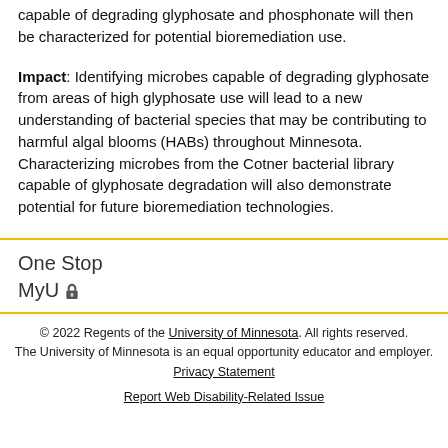capable of degrading glyphosate and phosphonate will then be characterized for potential bioremediation use.
Impact: Identifying microbes capable of degrading glyphosate from areas of high glyphosate use will lead to a new understanding of bacterial species that may be contributing to harmful algal blooms (HABs) throughout Minnesota. Characterizing microbes from the Cotner bacterial library capable of glyphosate degradation will also demonstrate potential for future bioremediation technologies.
One Stop
MyU
© 2022 Regents of the University of Minnesota. All rights reserved. The University of Minnesota is an equal opportunity educator and employer. Privacy Statement
Report Web Disability-Related Issue